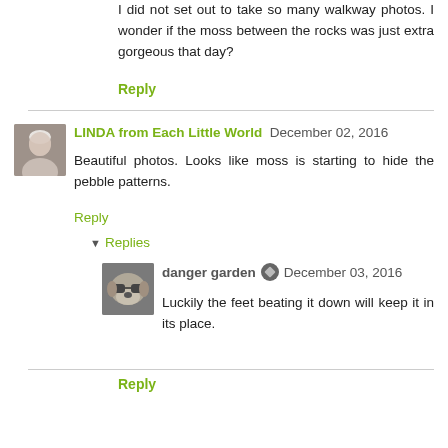I did not set out to take so many walkway photos. I wonder if the moss between the rocks was just extra gorgeous that day?
Reply
LINDA from Each Little World  December 02, 2016
Beautiful photos. Looks like moss is starting to hide the pebble patterns.
Reply
▾ Replies
[Figure (photo): Avatar photo of LINDA from Each Little World, showing a woman with white/grey hair]
[Figure (photo): Avatar photo of danger garden, showing a dog wearing sunglasses]
danger garden  December 03, 2016
Luckily the feet beating it down will keep it in its place.
Reply